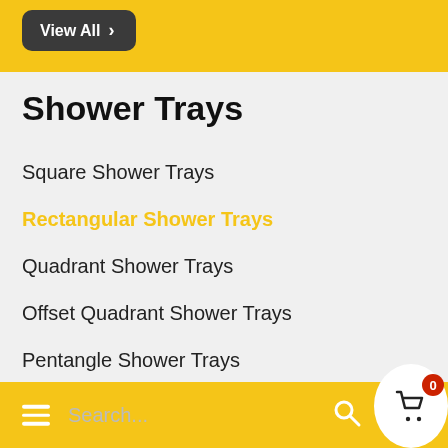View All >
Shower Trays
Square Shower Trays
Rectangular Shower Trays
Quadrant Shower Trays
Offset Quadrant Shower Trays
Pentangle Shower Trays
Search...  [search icon]  [cart icon with badge 0]